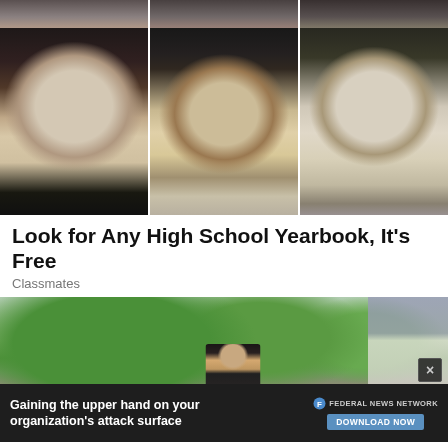[Figure (photo): Grid of black-and-white yearbook portrait photos showing young people from what appears to be the 1970s-1980s era. Top row shows partial crops of three individuals. Middle row shows a young woman with curly hair, a young man with an afro, and a young man wearing glasses.]
Look for Any High School Yearbook, It's Free
Classmates
[Figure (photo): Color photograph of a woman standing outdoors in a suburban neighborhood with green trees and houses in the background.]
[Figure (photo): Advertisement banner at the bottom: 'Gaining the upper hand on your organization's attack surface' with Federal News Network logo and 'DOWNLOAD NOW' button. Has a close (X) button.]